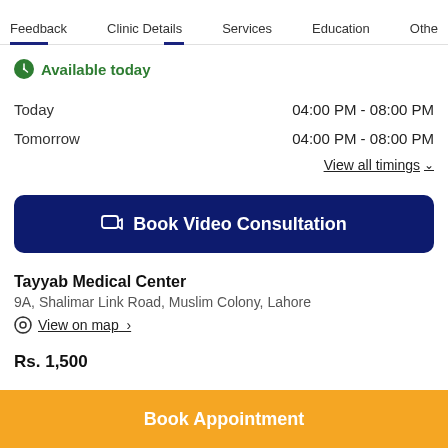Feedback | Clinic Details | Services | Education | Othe
Available today
Today   04:00 PM - 08:00 PM
Tomorrow   04:00 PM - 08:00 PM
View all timings
Book Video Consultation
Tayyab Medical Center
9A, Shalimar Link Road, Muslim Colony, Lahore
View on map  >
Rs. 1,500
Book Appointment